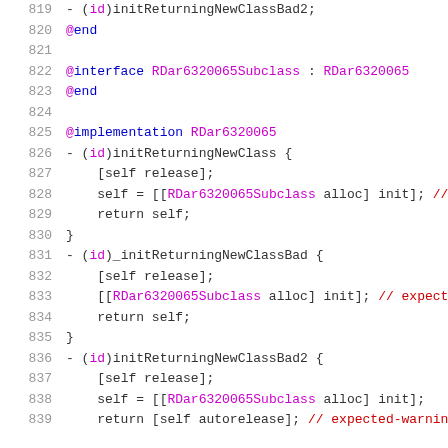[Figure (screenshot): Objective-C source code lines 819-839 showing class interface and implementation with methods initReturningNewClass, _initReturningNewClassBad, and initReturningNewClassBad2]